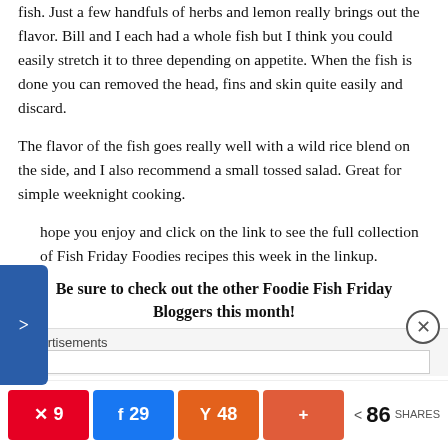fish. Just a few handfuls of herbs and lemon really brings out the flavor. Bill and I each had a whole fish but I think you could easily stretch it to three depending on appetite. When the fish is done you can removed the head, fins and skin quite easily and discard.
The flavor of the fish goes really well with a wild rice blend on the side, and I also recommend a small tossed salad. Great for simple weeknight cooking.
hope you enjoy and click on the link to see the full collection of Fish Friday Foodies recipes this week in the linkup.
Be sure to check out the other Foodie Fish Friday Bloggers this month!
Click on the hop link button to be transported to the other recipes:
Advertisements
9  29  48  +  86 SHARES